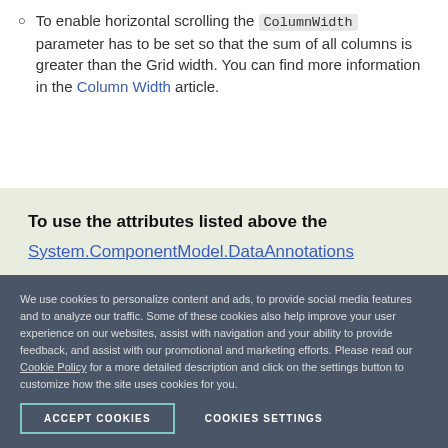To enable horizontal scrolling the ColumnWidth parameter has to be set so that the sum of all columns is greater than the Grid width. You can find more information in the Column Width article.
To use the attributes listed above the System.ComponentModel.DataAnnotations
We use cookies to personalize content and ads, to provide social media features and to analyze our traffic. Some of these cookies also help improve your user experience on our websites, assist with navigation and your ability to provide feedback, and assist with our promotional and marketing efforts. Please read our Cookie Policy for a more detailed description and click on the settings button to customize how the site uses cookies for you.
ACCEPT COOKIES
COOKIES SETTINGS